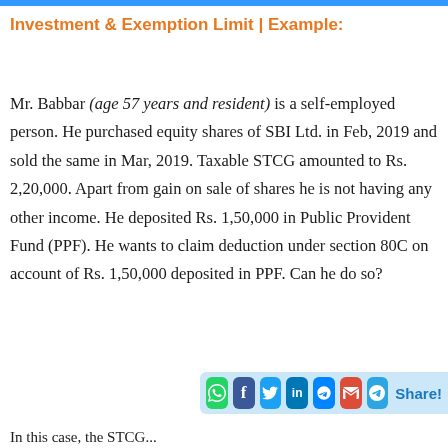Investment & Exemption Limit | Example:
Mr. Babbar (age 57 years and resident) is a self-employed person. He purchased equity shares of SBI Ltd. in Feb, 2019 and sold the same in Mar, 2019. Taxable STCG amounted to Rs. 2,20,000. Apart from gain on sale of shares he is not having any other income. He deposited Rs. 1,50,000 in Public Provident Fund (PPF). He wants to claim deduction under section 80C on account of Rs. 1,50,000 deposited in PPF. Can he do so?
In this case, the STCG...